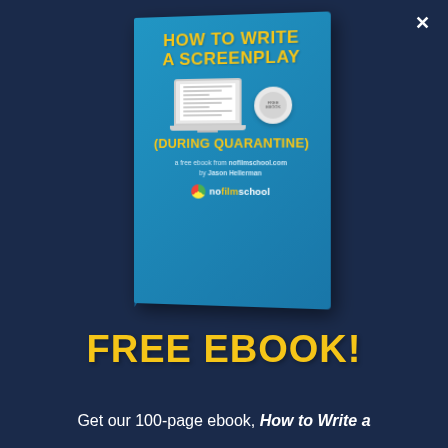[Figure (illustration): Book cover for 'How to Write a Screenplay (During Quarantine)', a free ebook from nofilmschool.com by Jason Hellerman. The book cover is blue with yellow title text, featuring an illustration of a laptop showing a screenplay and an award badge. The nofilmschool logo appears at the bottom of the cover. An X close button appears in the top right corner of the page.]
FREE EBOOK!
Get our 100-page ebook, How to Write a